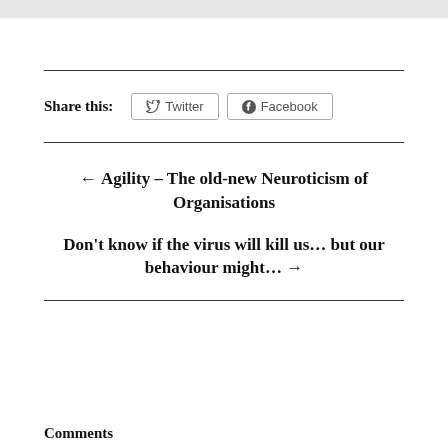Share this: Twitter Facebook
← Agility – The old-new Neuroticism of Organisations
Don't know if the virus will kill us… but our behaviour might… →
Comments